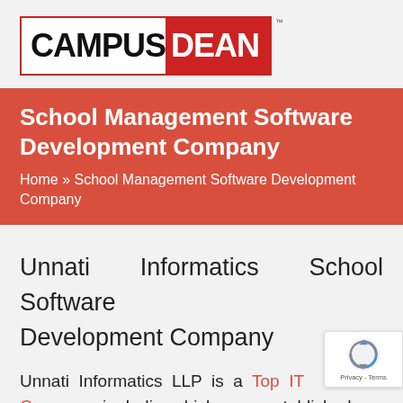[Figure (logo): CampusDean logo: CAMPUS in black bold text and DEAN in white bold text on red background, inside a red-bordered box, with a TM superscript]
School Management Software Development Company
Home » School Management Software Development Company
Unnati Informatics School Software Development Company
Unnati Informatics LLP is a Top IT Company in India which was established